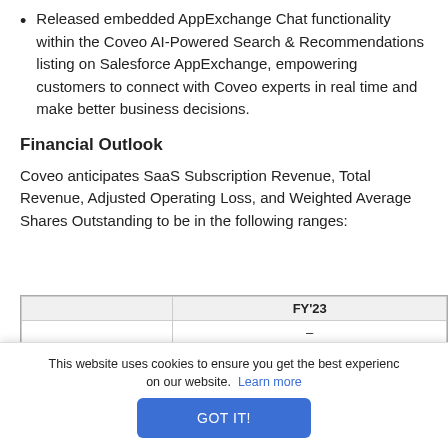Released embedded AppExchange Chat functionality within the Coveo AI-Powered Search & Recommendations listing on Salesforce AppExchange, empowering customers to connect with Coveo experts in real time and make better business decisions.
Financial Outlook
Coveo anticipates SaaS Subscription Revenue, Total Revenue, Adjusted Operating Loss, and Weighted Average Shares Outstanding to be in the following ranges:
|  | FY'23 |
| --- | --- |
|  | – |
|  | llion |
|  | – |
| million | $111.0 million |